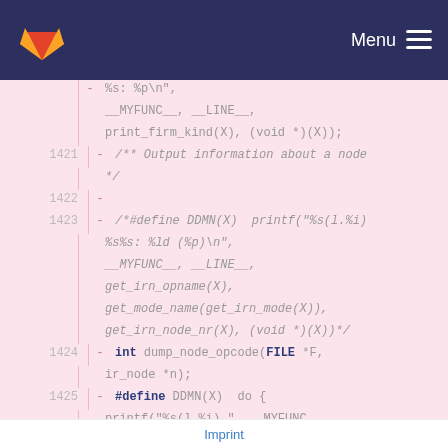GitLab — Menu
[Figure (screenshot): Code diff view showing deleted lines 1421-1425 of source code with line numbers, diff markers, and monospace code content on a pink background]
Imprint